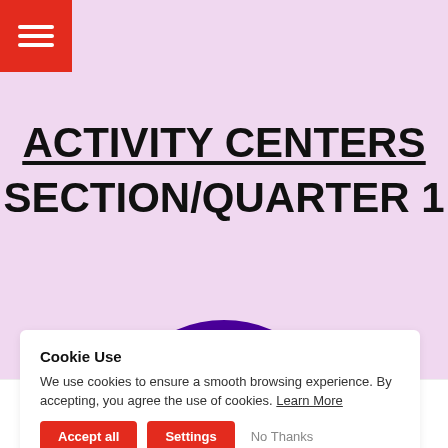[Figure (screenshot): Red hamburger menu button in top-left corner]
ACTIVITY CENTERS SECTION/QUARTER 1
[Figure (illustration): Purple and lavender concentric circle graphic]
Cookie Use
We use cookies to ensure a smooth browsing experience. By accepting, you agree the use of cookies. Learn More
Accept all   Settings   No Thanks
Home   BLOG   Store   Contact